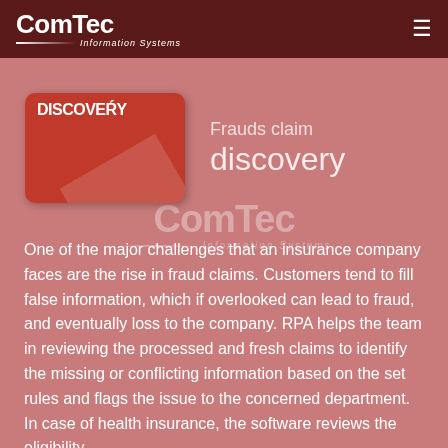ComTec Information Systems
[Figure (logo): Discover card logo - red card with DISCOVERY text and diagonal stripe]
Frauds claim discovery
One of the major challenges that an insurance company faces are the rise in fraud claims. Customers tend to fill false information, which if overlooked can lead to fraud, and eventually loss to the company. RPA helps the team in reviewing the processed and fresh claims to identify the missing or conflicting information based on the set rules and flags the issue to the concerned department. In case of health insurance, the software reviews the eligibility